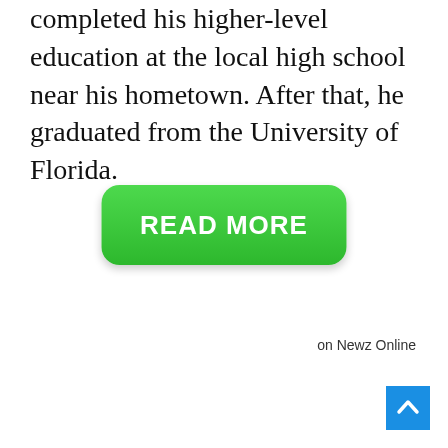completed his higher-level education at the local high school near his hometown. After that, he graduated from the University of Florida.
[Figure (other): Green rounded rectangle button with white bold text 'READ MORE']
on Newz Online
[Figure (other): Blue square back-to-top button with white upward chevron arrow]